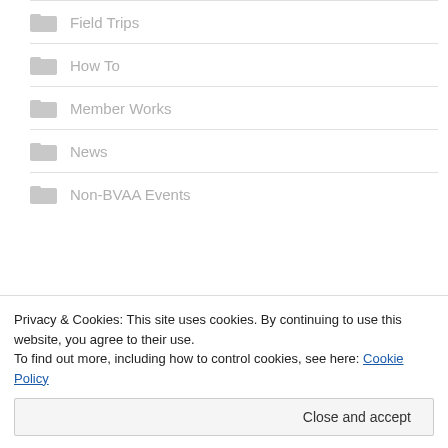Field Trips
How To
Member Works
News
Non-BVAA Events
ARCHIVES OF POSTS
Privacy & Cookies: This site uses cookies. By continuing to use this website, you agree to their use.
To find out more, including how to control cookies, see here: Cookie Policy
Close and accept